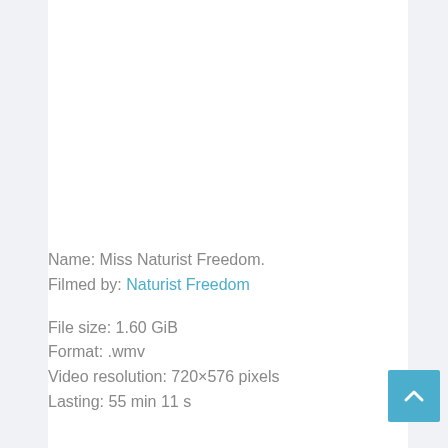Name: Miss Naturist Freedom.
Filmed by: Naturist Freedom

File size: 1.60 GiB
Format: .wmv
Video resolution: 720×576 pixels
Lasting: 55 min 11 s